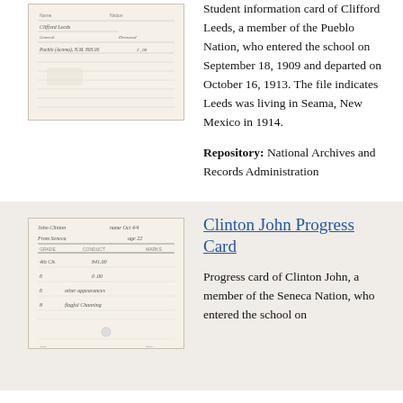[Figure (photo): Scanned student information card of Clifford Leeds, handwritten form on aged paper]
Student information card of Clifford Leeds, a member of the Pueblo Nation, who entered the school on September 18, 1909 and departed on October 16, 1913. The file indicates Leeds was living in Seama, New Mexico in 1914.
Repository: National Archives and Records Administration
[Figure (photo): Scanned progress card of Clinton John, handwritten ledger-style form on aged paper]
Clinton John Progress Card
Progress card of Clinton John, a member of the Seneca Nation, who entered the school on